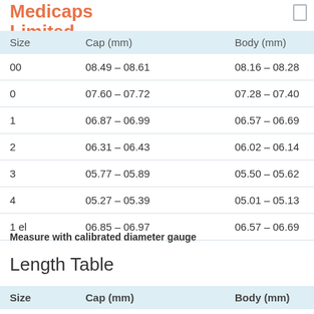Medicaps Limited
| Size | Cap (mm) | Body (mm) |
| --- | --- | --- |
| 00 | 08.49 – 08.61 | 08.16 – 08.28 |
| 0 | 07.60 – 07.72 | 07.28 – 07.40 |
| 1 | 06.87 – 06.99 | 06.57 – 06.69 |
| 2 | 06.31 – 06.43 | 06.02 – 06.14 |
| 3 | 05.77 – 05.89 | 05.50 – 05.62 |
| 4 | 05.27 – 05.39 | 05.01 – 05.13 |
| 1 el | 06.85 – 06.97 | 06.57 – 06.69 |
Measure with calibrated diameter gauge
Length Table
| Size | Cap (mm) | Body (mm) |
| --- | --- | --- |